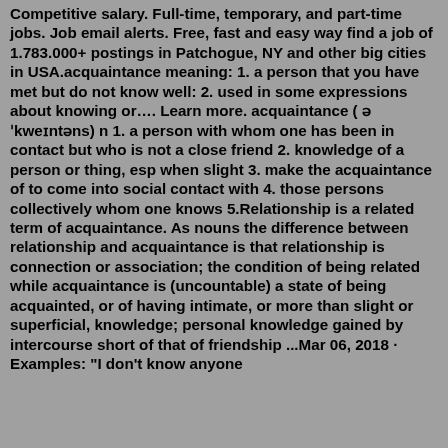Competitive salary. Full-time, temporary, and part-time jobs. Job email alerts. Free, fast and easy way find a job of 1.783.000+ postings in Patchogue, NY and other big cities in USA.acquaintance meaning: 1. a person that you have met but do not know well: 2. used in some expressions about knowing or…. Learn more. acquaintance ( ə'kweɪntəns) n 1. a person with whom one has been in contact but who is not a close friend 2. knowledge of a person or thing, esp when slight 3. make the acquaintance of to come into social contact with 4. those persons collectively whom one knows 5.Relationship is a related term of acquaintance. As nouns the difference between relationship and acquaintance is that relationship is connection or association; the condition of being related while acquaintance is (uncountable) a state of being acquainted, or of having intimate, or more than slight or superficial, knowledge; personal knowledge gained by intercourse short of that of friendship ...Mar 06, 2018 · Examples: "I don't know anyone